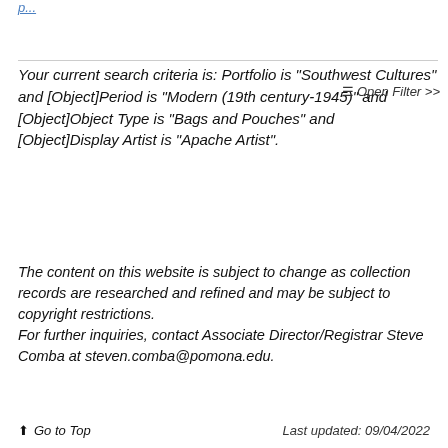Your current search criteria is: Portfolio is "Southwest Cultures" and [Object]Period is "Modern (19th century-1945)" and [Object]Object Type is "Bags and Pouches" and [Object]Display Artist is "Apache Artist".
Open Filter >>
The content on this website is subject to change as collection records are researched and refined and may be subject to copyright restrictions.
For further inquiries, contact Associate Director/Registrar Steve Comba at steven.comba@pomona.edu.
Go to Top   Last updated: 09/04/2022